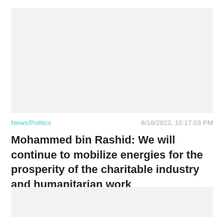[Figure (photo): Top image placeholder block, light gray background]
News/Politics
8/18/2022, 10:17:03 PM
Mohammed bin Rashid: We will continue to mobilize energies for the prosperity of the charitable industry and humanitarian work
[Figure (photo): Bottom image placeholder block, light gray background]